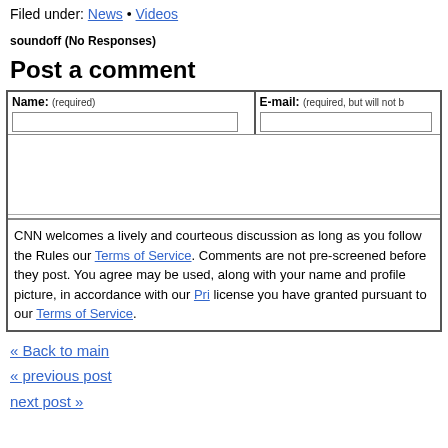Filed under: News • Videos
soundoff (No Responses)
Post a comment
| Name: (required) | E-mail: (required, but will not b… |
| --- | --- |
|  |
CNN welcomes a lively and courteous discussion as long as you follow the Rules our Terms of Service. Comments are not pre-screened before they post. You agree may be used, along with your name and profile picture, in accordance with our Pri license you have granted pursuant to our Terms of Service.
« Back to main
« previous post
next post »